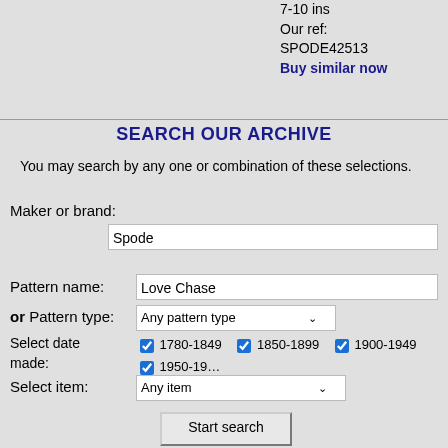7-10 ins
Our ref:
SPODE42513
Buy similar now
SEARCH OUR ARCHIVE
You may search by any one or combination of these selections.
Maker or brand:
Spode
Pattern name:
Love Chase
or Pattern type: Any pattern type
Select date made: 1780-1849  1850-1899  1900-1949  1950-19... 2000+  New china
Select item: Any item
Start search
Lost for Words?
To see a list of all makers and patterns in our Archive, click on one of